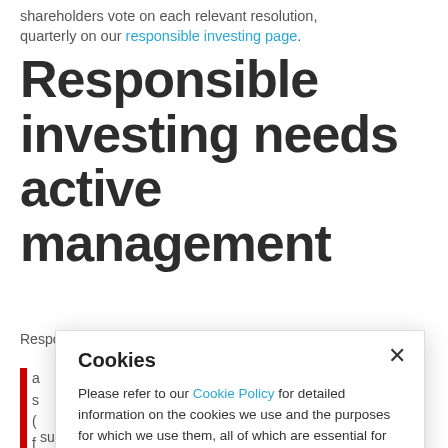shareholders vote on each relevant resolution, quarterly on our responsible investing page.
Responsible investing needs active management
Responsible investing is receiving increasing
a s ( f T o
sustainable returns are dependent on stable, well-
[Figure (screenshot): Cookie consent modal overlay with title 'Cookies', body text referencing Cookie Policy link, and a close (×) button in the top right corner.]